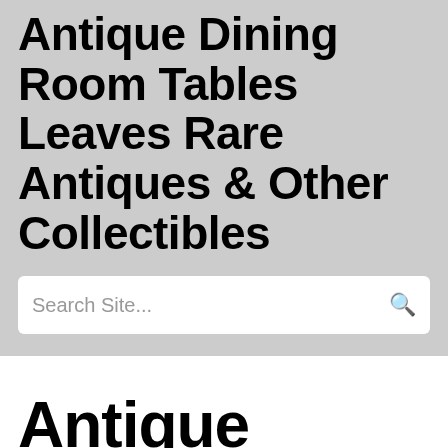Antique Dining Room Tables Leaves Rare Antiques & Other Collectibles
Search Site...
Antique